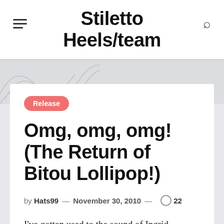Stiletto Heels/team
Release
Omg, omg, omg! (The Return of Bitou Lollipop!)
by Hats99 — November 30, 2010 — 22
I've gotten used to the sound of Ingrid